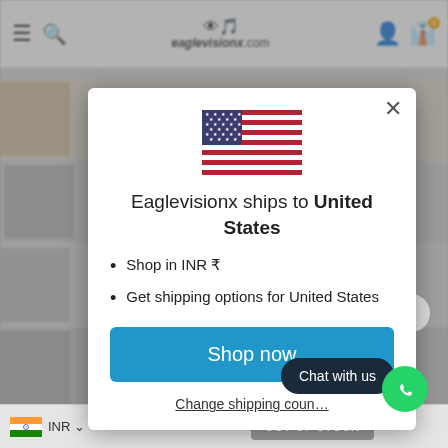[Figure (screenshot): Background of eaglevisionx.com website with header navigation, product thumbnails, and bottom currency/stock bar]
[Figure (infographic): Modal popup dialog showing US flag, shipping notice for United States, bullet points, Shop now button, and Change shipping country link]
Eaglevisionx ships to United States
Shop in INR ₹
Get shipping options for United States
Shop now
Change shipping country
Chat with us